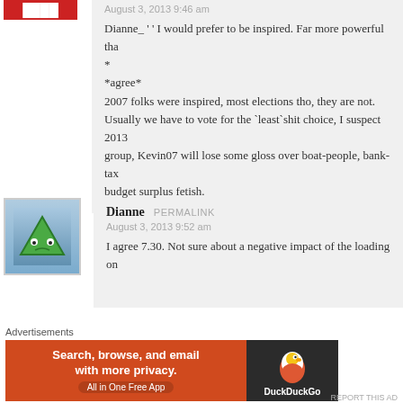Dianne_ ' ' I would prefer to be inspired. Far more powerful tha
*
*agree*
2007 folks were inspired, most elections tho, they are not.
Usually we have to vote for the `least`shit choice, I suspect 2013
group, Kevin07 will lose some gloss over boat-people, bank-tax
budget surplus fetish.
[Figure (illustration): Avatar image: sad green triangle face on blue-grey gradient background]
Dianne PERMALINK
August 3, 2013 9:52 am
I agree 7.30. Not sure about a negative impact of the loading on
730
730portland
Advertisements
[Figure (infographic): DuckDuckGo advertisement banner: 'Search, browse, and email with more privacy. All in One Free App']